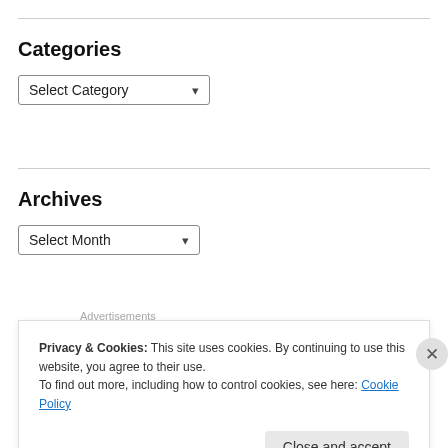Categories
[Figure (screenshot): Dropdown select box labeled 'Select Category' with a chevron arrow]
Archives
[Figure (screenshot): Dropdown select box labeled 'Select Month' with a chevron arrow]
Advertisements
[Figure (other): Advertisement banner with beige background showing text 'Need a website quickly –']
Privacy & Cookies: This site uses cookies. By continuing to use this website, you agree to their use.
To find out more, including how to control cookies, see here: Cookie Policy
Close and accept